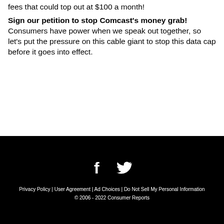fees that could top out at $100 a month!
Sign our petition to stop Comcast's money grab!
Consumers have power when we speak out together, so let's put the pressure on this cable giant to stop this data cap before it goes into effect.
[Figure (illustration): Facebook and Twitter social media icons in white on black background]
Privacy Policy | User Agreement | Ad Choices | Do Not Sell My Personal Information
© 2006 - 2022 Consumer Reports